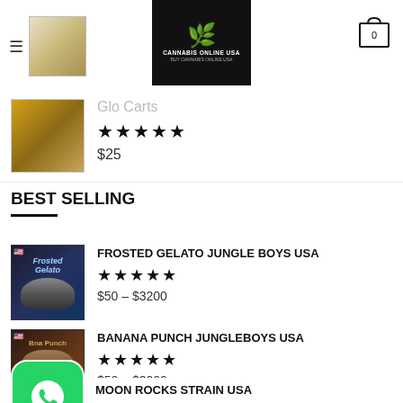Cannabis Online USA — Buy Cannabis Online USA
Glo Carts
★★★★★
$25
BEST SELLING
FROSTED GELATO JUNGLE BOYS USA
★★★★★
$50 – $3200
BANANA PUNCH JUNGLEBOYS USA
★★★★★
$50 – $3000
MOON ROCKS STRAIN USA
★★★★★